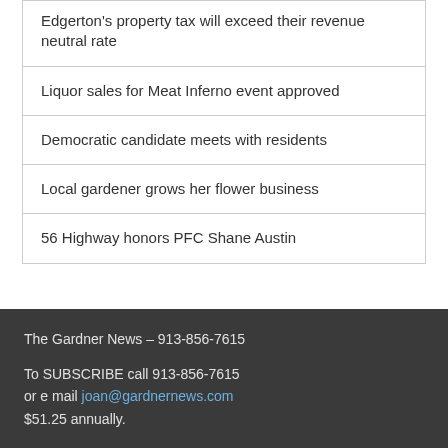Edgerton's property tax will exceed their revenue neutral rate
Liquor sales for Meat Inferno event approved
Democratic candidate meets with residents
Local gardener grows her flower business
56 Highway honors PFC Shane Austin
The Gardner News – 913-856-7615
To SUBSCRIBE call 913-856-7615
or e mail joan@gardnernews.com
$51.25 annually.